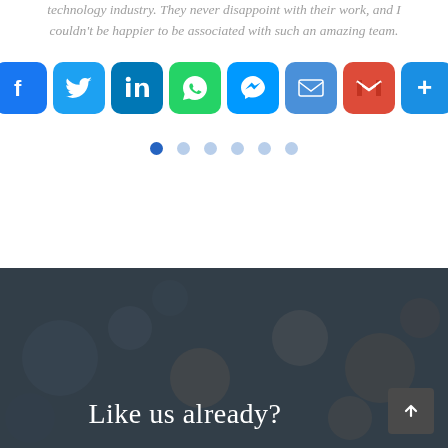technology industry. They never disappoint with their work, and I couldn't be happier to be associated with such an amazing team.
[Figure (infographic): Row of social media share buttons: Facebook, Twitter, LinkedIn, WhatsApp, Messenger, Email, Gmail, and a '+' more button]
[Figure (infographic): Carousel pagination dots: 6 dots, first one filled blue (active), rest light blue (inactive)]
[Figure (photo): Dark blurred bokeh background image for bottom section]
Like us already?